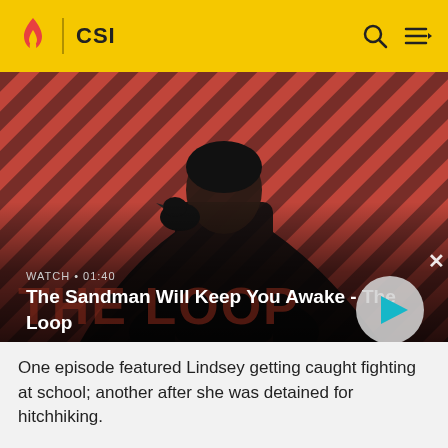CSI
[Figure (screenshot): Video thumbnail showing a dark-cloaked figure with a raven on shoulder against a red and black diagonal striped background. Title: The Sandman Will Keep You Awake - The Loop. Watch duration: 01:40.]
One episode featured Lindsey getting caught fighting at school; another after she was detained for hitchhiking.
This latter incident prompted a scene where Catherine takes Lindsey to a morgue to show her the corpse of an